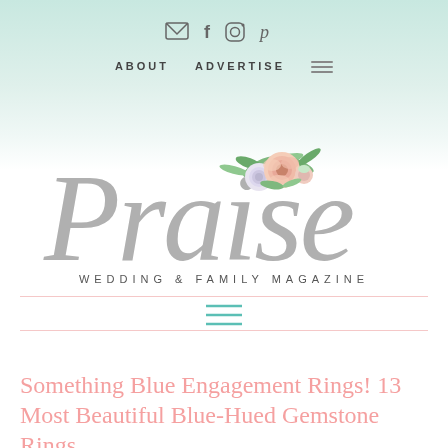✉ f ⊙ p   ABOUT   ADVERTISE   ☰
[Figure (logo): Praise Wedding & Family Magazine logo — large cursive grey 'Praise' script with watercolor floral decoration (peach and white roses with green leaves) above the letters, and 'WEDDING & FAMILY MAGAZINE' in small spaced caps below]
[Figure (other): Teal/green hamburger menu icon (three horizontal lines) between two thin pink horizontal rules]
Something Blue Engagement Rings! 13 Most Beautiful Blue-Hued Gemstone Rings